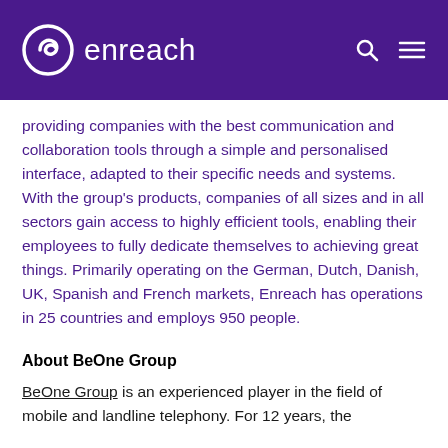enreach
providing companies with the best communication and collaboration tools through a simple and personalised interface, adapted to their specific needs and systems. With the group's products, companies of all sizes and in all sectors gain access to highly efficient tools, enabling their employees to fully dedicate themselves to achieving great things. Primarily operating on the German, Dutch, Danish, UK, Spanish and French markets, Enreach has operations in 25 countries and employs 950 people.
About BeOne Group
BeOne Group is an experienced player in the field of mobile and landline telephony. For 12 years, the